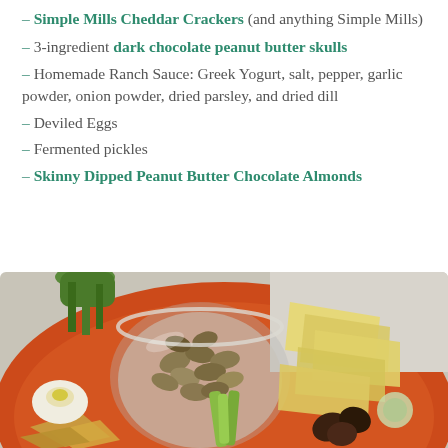– Simple Mills Cheddar Crackers (and anything Simple Mills)
– 3-ingredient dark chocolate peanut butter skulls
– Homemade Ranch Sauce: Greek Yogurt, salt, pepper, garlic powder, onion powder, dried parsley, and dried dill
– Deviled Eggs
– Fermented pickles
– Skinny Dipped Peanut Butter Chocolate Almonds
[Figure (photo): A charcuterie/snack board on an orange plate with a glass bowl of chocolate-covered almonds, sliced yellow cheese, celery sticks, crackers, a deviled egg, pickles, and other snacks.]